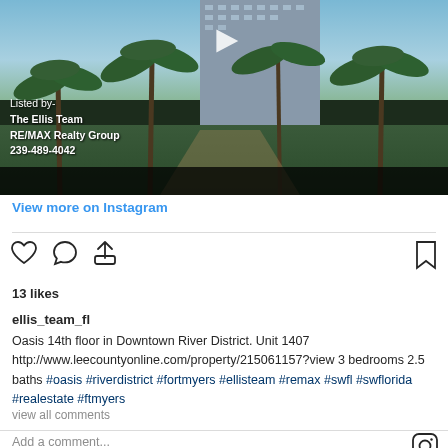[Figure (photo): Instagram video thumbnail showing a high-rise building with palm trees. Text overlay reads: Listed by- The Ellis Team RE/MAX Realty Group 239-489-4042]
View more on Instagram
13 likes
ellis_team_fl
Oasis 14th floor in Downtown River District. Unit 1407 http://www.leecountyonline.com/property/215061157?view 3 bedrooms 2.5 baths #oasis #riverdistrict #fortmyers #ellisteam #remax #swfl #swflorida #realestate #ftmyers
view all comments
Add a comment...